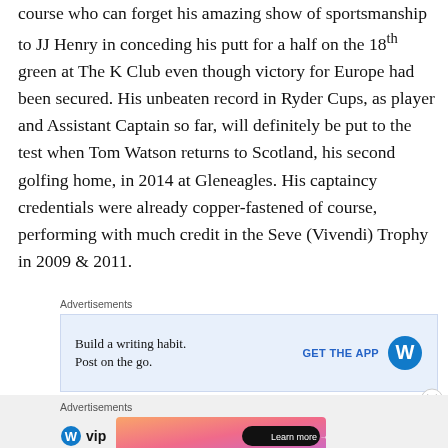course who can forget his amazing show of sportsmanship to JJ Henry in conceding his putt for a half on the 18th green at The K Club even though victory for Europe had been secured. His unbeaten record in Ryder Cups, as player and Assistant Captain so far, will definitely be put to the test when Tom Watson returns to Scotland, his second golfing home, in 2014 at Gleneagles. His captaincy credentials were already copper-fastened of course, performing with much credit in the Seve (Vivendi) Trophy in 2009 & 2011.
Advertisements
[Figure (other): Advertisement banner: 'Build a writing habit. Post on the go.' with GET THE APP button and WordPress logo on blue background]
Advertisements
[Figure (other): Advertisement banner: WordPress VIP logo with colorful gradient banner and 'Learn more' button]